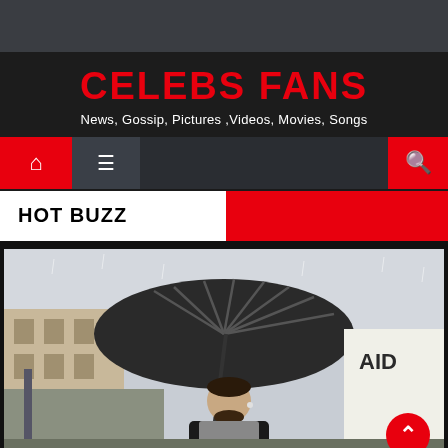CELEBS FANS — News, Gossip, Pictures, Videos, Movies, Songs
HOT BUZZ
[Figure (photo): A man holding a large black umbrella outdoors in rainy weather, smiling, wearing a black jacket and grey hoodie with earbuds in. Urban street scene with buildings visible in the background.]